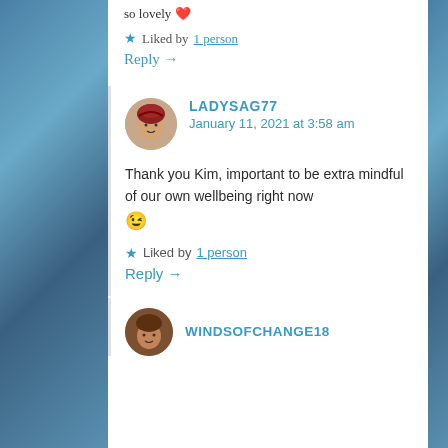so lovely ❤
★ Liked by 1 person
Reply →
LADYSAG77
January 11, 2021 at 3:58 am
Thank you Kim, important to be extra mindful of our own wellbeing right now 😉
★ Liked by 1 person
Reply →
WINDSOFCHANGE18